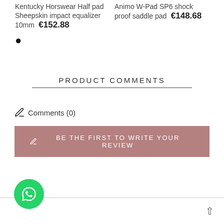Kentucky Horswear Half pad Sheepskin impact equalizer 10mm €152.88
Animo W-Pad SP6 shock proof saddle pad €148.68
•
PRODUCT COMMENTS
Comments (0)
BE THE FIRST TO WRITE YOUR REVIEW